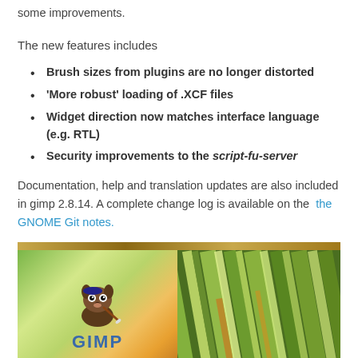some improvements.
The new features includes
Brush sizes from plugins are no longer distorted
'More robust' loading of .XCF files
Widget direction now matches interface language (e.g. RTL)
Security improvements to the script-fu-server
Documentation, help and translation updates are also included in gimp 2.8.14. A complete change log is available on the the GNOME Git notes.
[Figure (photo): GIMP application banner image showing the GIMP mascot (Wilber the dog/fox with paintbrush) and the GIMP logo on the left side, with a colorful abstract green and yellow vertical lines/pencils image on the right side, with a golden/brown bar at the top.]